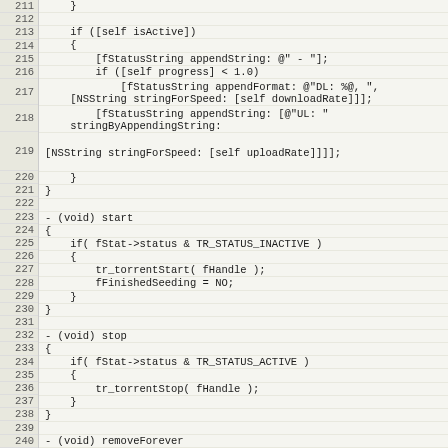[Figure (screenshot): Source code listing in Objective-C showing lines 211-240, with line numbers in a left gutter and code in monospace font on a light beige background. Code shows methods including status string building, start, stop, and removeForever methods.]